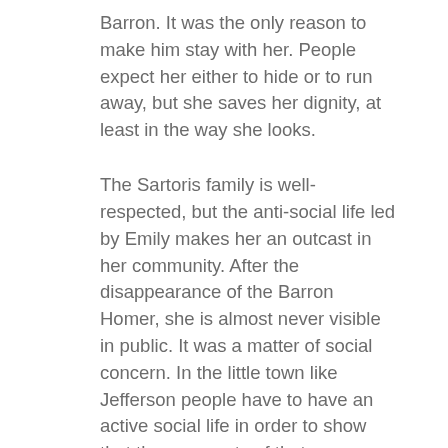Barron. It was the only reason to make him stay with her. People expect her either to hide or to run away, but she saves her dignity, at least in the way she looks.
The Sartoris family is well-respected, but the anti-social life led by Emily makes her an outcast in her community. After the disappearance of the Barron Homer, she is almost never visible in public. It was a matter of social concern. In the little town like Jefferson people have to have an active social life in order to show that they are parts of that community.
Racial discrimination was a cultural tradition as well. The actions take place after the abolition of slavery, but the position of servants in the society remain low. It is visible from the story that it happens in times where racial discrimination was treated as a norm. All servants were African American. The relative of Ms. Emily implemented the reform according to which African Americans were not allowed to go somewhere without